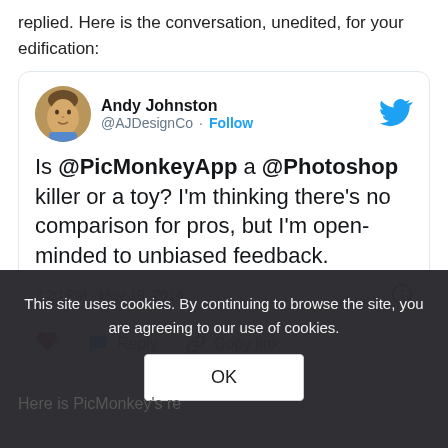replied. Here is the conversation, unedited, for your edification:
[Figure (screenshot): Embedded tweet from Andy Johnston (@AJDesignCo) asking: Is @PicMonkeyApp a @Photoshop killer or a toy? I'm thinking there's no comparison for pros, but I'm open-minded to unbiased feedback. Posted at 8:20 PM · May 19, 2014. Shows heart, reply, and copy link actions, plus 'Read 2 replies' link.]
This site uses cookies. By continuing to browse the site, you are agreeing to our use of cookies.
Here is PicMonkey's re